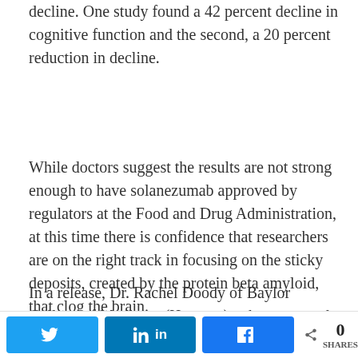decline. One study found a 42 percent decline in cognitive function and the second, a 20 percent reduction in decline.
While doctors suggest the results are not strong enough to have solanezumab approved by regulators at the Food and Drug Administration, at this time there is confidence that researchers are on the right track in focusing on the sticky deposits, created by the protein beta amyloid, that clog the brain.
In a release, Dr. Rachel Doody of Baylor College of Medicine (Houston), who presented the data on solanezumab at the American Neurological Association convention, said, "Our committee is
[Figure (other): Social share bar with Twitter, LinkedIn, and Facebook buttons, plus a share count showing 0 SHARES]